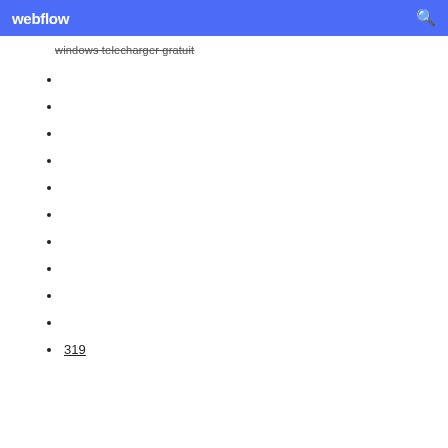webflow
windows telecharger gratuit
319